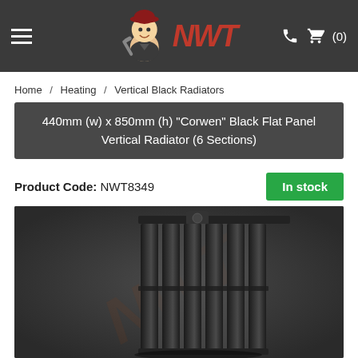NWT — Navigation header with hamburger menu, logo, phone and cart icons (0)
Home / Heating / Vertical Black Radiators
440mm (w) x 850mm (h) "Corwen" Black Flat Panel Vertical Radiator (6 Sections)
Product Code: NWT8349
In stock
[Figure (photo): Black flat panel vertical radiator with 6 sections mounted on a dark grey background. The radiator features tall narrow vertical panels with small gaps between them and a bracket visible at the top.]